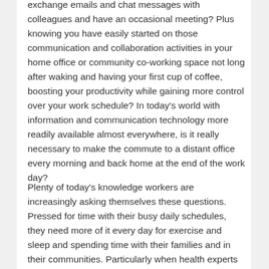exchange emails and chat messages with colleagues and have an occasional meeting? Plus knowing you have easily started on those communication and collaboration activities in your home office or community co-working space not long after waking and having your first cup of coffee, boosting your productivity while gaining more control over your work schedule? In today's world with information and communication technology more readily available almost everywhere, is it really necessary to make the commute to a distant office every morning and back home at the end of the work day?
Plenty of today's knowledge workers are increasingly asking themselves these questions. Pressed for time with their busy daily schedules, they need more of it every day for exercise and sleep and spending time with their families and in their communities. Particularly when health experts are sounding the alarm over a rise in costly, chronic health conditions that can be prevented or reduced with more healthful lifestyles. Their organizations are also re-examining the need for